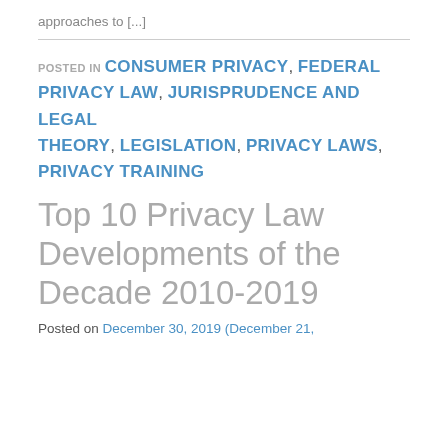approaches to [...]
POSTED IN CONSUMER PRIVACY, FEDERAL PRIVACY LAW, JURISPRUDENCE AND LEGAL THEORY, LEGISLATION, PRIVACY LAWS, PRIVACY TRAINING
Top 10 Privacy Law Developments of the Decade 2010-2019
Posted on December 30, 2019 (December 21,